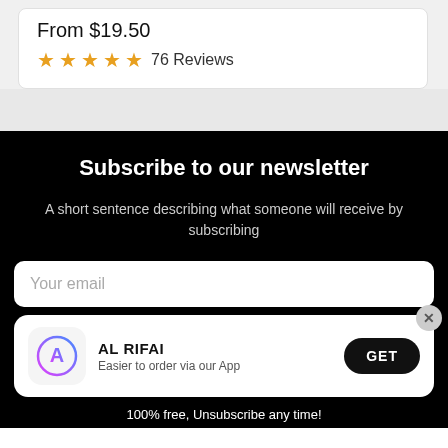From $19.50
★★★★★ 76 Reviews
Subscribe to our newsletter
A short sentence describing what someone will receive by subscribing
Your email
[Figure (screenshot): App download banner with AL RIFAI logo (App Store icon style), text 'AL RIFAI' and 'Easier to order via our App', and a GET button]
100% free, Unsubscribe any time!